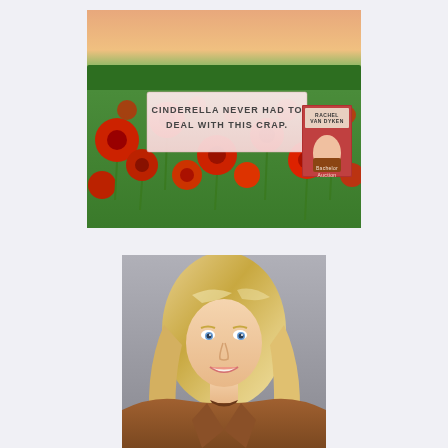[Figure (illustration): Book promotional image: poppy field background with text overlay 'CINDERELLA NEVER HAD TO DEAL WITH THIS CRAP.' and a book cover in the corner showing author name Rachel Van Dyken and title Bachelor Auction]
[Figure (photo): Author headshot: smiling blonde woman with wavy hair, wearing brown jacket, against gray background]